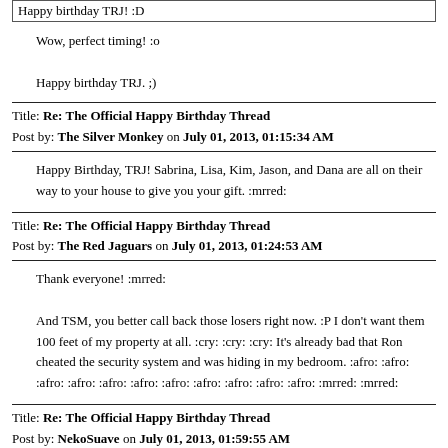Happy birthday TRJ!  :D
Wow, perfect timing! :o

Happy birthday TRJ. ;)
Title: Re: The Official Happy Birthday Thread
Post by: The Silver Monkey on July 01, 2013, 01:15:34 AM
Happy Birthday, TRJ! Sabrina, Lisa, Kim, Jason, and Dana are all on their way to your house to give you your gift. :mrred:
Title: Re: The Official Happy Birthday Thread
Post by: The Red Jaguars on July 01, 2013, 01:24:53 AM
Thank everyone!  :mrred:

And TSM, you better call back those losers right now. :P I don't want them 100 feet of my property at all.  :cry:  :cry:  :cry: It's already bad that Ron cheated the security system and was hiding in my bedroom.  :afro:  :afro:  :afro:  :afro:  :afro:  :afro: :afro:  :afro:  :afro:  :afro:  :afro:  :mrred:  :mrred:
Title: Re: The Official Happy Birthday Thread
Post by: NekoSuave on July 01, 2013, 01:59:55 AM
Happy birthday TRJ!